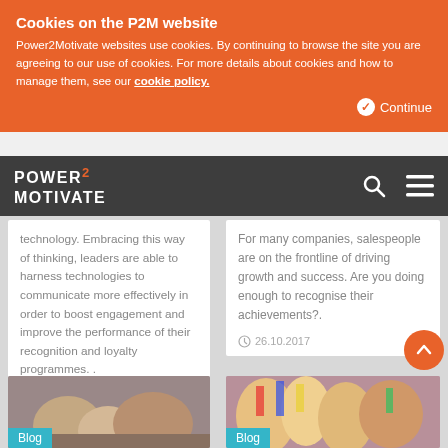Cookies on the P2M website
Power2Motivate websites use cookies. By continuing to browse the site you are agreeing to our use of cookies. For more details about cookies and how to manage them, see our cookie policy.
Continue
[Figure (logo): Power2Motivate logo with search and hamburger menu icons on dark grey navigation bar]
technology. Embracing this way of thinking, leaders are able to harness technologies to communicate more effectively in order to boost engagement and improve the performance of their recognition and loyalty programmes. .
26.10.2017
For many companies, salespeople are on the frontline of driving growth and success. Are you doing enough to recognise their achievements?.
26.10.2017
Blog
[Figure (photo): Photo of people at bottom left]
Blog
[Figure (photo): Photo of people celebrating with flags at bottom right]